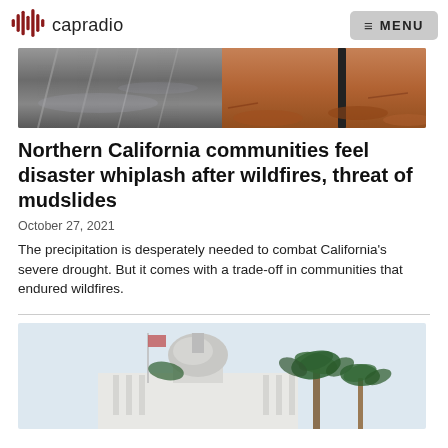capradio   MENU
[Figure (photo): Split image: left side shows wet pavement/road surface, right side shows burned trees and orange pine needles from a wildfire area.]
Northern California communities feel disaster whiplash after wildfires, threat of mudslides
October 27, 2021
The precipitation is desperately needed to combat California's severe drought. But it comes with a trade-off in communities that endured wildfires.
[Figure (photo): Exterior photo of the California State Capitol building with its white dome, palm trees in the foreground, and a flag on a flagpole against a light blue sky.]